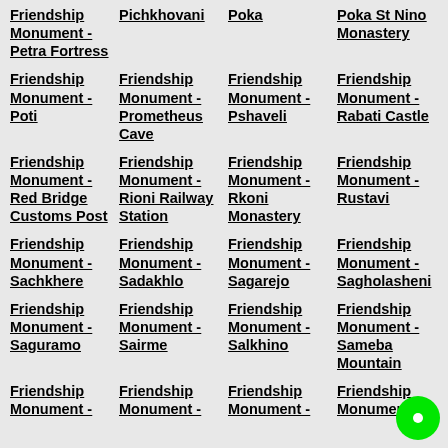Friendship Monument - Petra Fortress
Pichkhovani
Poka
Poka St Nino Monastery
Friendship Monument - Poti
Friendship Monument - Prometheus Cave
Friendship Monument - Pshaveli
Friendship Monument - Rabati Castle
Friendship Monument - Red Bridge Customs Post
Friendship Monument - Rioni Railway Station
Friendship Monument - Rkoni Monastery
Friendship Monument - Rustavi
Friendship Monument - Sachkhere
Friendship Monument - Sadakhlo
Friendship Monument - Sagarejo
Friendship Monument - Sagholasheni
Friendship Monument - Saguramo
Friendship Monument - Sairme
Friendship Monument - Salkhino
Friendship Monument - Sameba Mountain
Friendship Monument -
Friendship Monument -
Friendship Monument -
Friendship Monument -